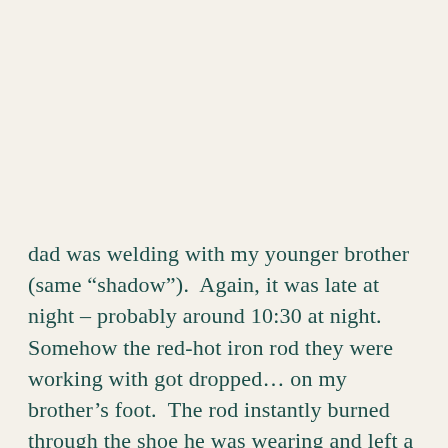dad was welding with my younger brother (same “shadow”).  Again, it was late at night – probably around 10:30 at night.  Somehow the red-hot iron rod they were working with got dropped… on my brother’s foot.  The rod instantly burned through the shoe he was wearing and left a dime-sized burn on the top of his foot.  In that moment of pain, my younger brother jumped backwards and straight into the open cellar